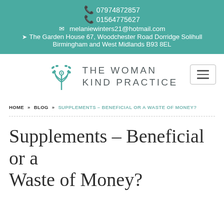07974872857
01564775627
melaniewinters21@hotmail.com
The Garden House 67, Woodchester Road Dorridge Solihull Birmingham and West Midlands B93 8EL
[Figure (logo): The Woman Kind Practice logo: stylized tree/person figure in teal with text 'THE WOMAN KIND PRACTICE' in grey uppercase letters]
HOME » BLOG » SUPPLEMENTS – BENEFICIAL OR A WASTE OF MONEY?
Supplements – Beneficial or a Waste of Money?